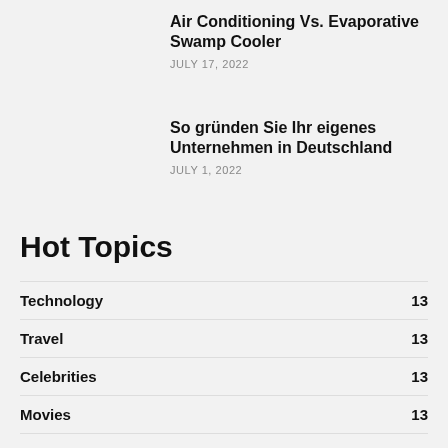Air Conditioning Vs. Evaporative Swamp Cooler
JULY 17, 2022
So gründen Sie Ihr eigenes Unternehmen in Deutschland
JULY 1, 2022
Hot Topics
Technology 13
Travel 13
Celebrities 13
Movies 13
TV 13